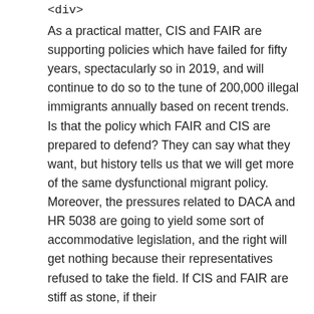<div>
As a practical matter, CIS and FAIR are supporting policies which have failed for fifty years, spectacularly so in 2019, and will continue to do so to the tune of 200,000 illegal immigrants annually based on recent trends. Is that the policy which FAIR and CIS are prepared to defend? They can say what they want, but history tells us that we will get more of the same dysfunctional migrant policy. Moreover, the pressures related to DACA and HR 5038 are going to yield some sort of accommodative legislation, and the right will get nothing because their representatives refused to take the field. If CIS and FAIR are stiff as stone, if their